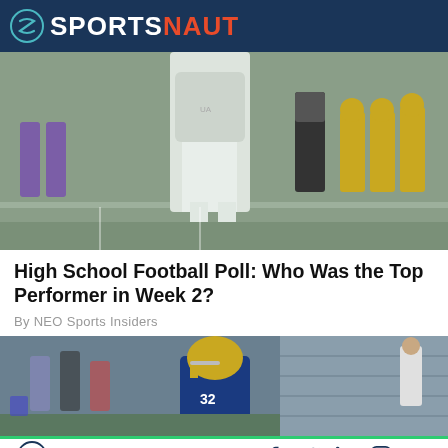SPORTSNAUT
[Figure (photo): Football player in white uniform on a field, opposing team in yellow and purple uniforms visible in background along with a referee]
High School Football Poll: Who Was the Top Performer in Week 2?
By NEO Sports Insiders
[Figure (photo): Football player wearing blue jersey numbered 32 with gold helmet, crouching near the sideline with bleachers and coach visible in background]
Sportsnaut logo and social media icons: Facebook, Twitter, LinkedIn, Instagram, YouTube